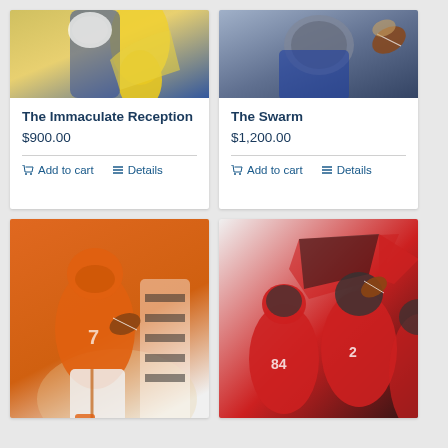[Figure (photo): Sports artwork photo showing football players, yellow and blue uniforms - The Immaculate Reception artwork top portion]
The Immaculate Reception
$900.00
Add to cart | Details
[Figure (photo): Sports artwork photo showing football players - The Swarm artwork top portion]
The Swarm
$1,200.00
Add to cart | Details
[Figure (photo): Football artwork showing Denver Broncos quarterback in orange jersey number 7 scrambling with referee in background]
[Figure (photo): Football artwork showing Atlanta Falcons players in red jerseys numbers 84 and 2 with Falcons logo in background]